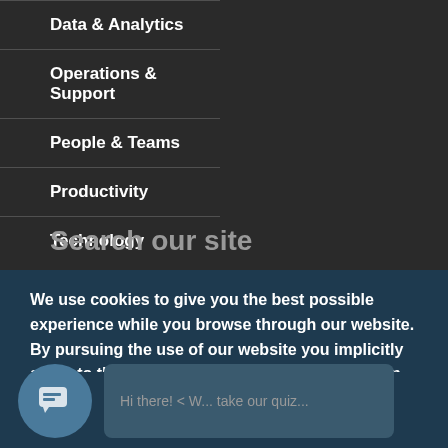Data & Analytics
Operations & Support
People & Teams
Productivity
Technology
Search our site
We use cookies to give you the best possible experience while you browse through our website. By pursuing the use of our website you implicitly agree to the usage of cookies on this site.  Learn More
Got it!